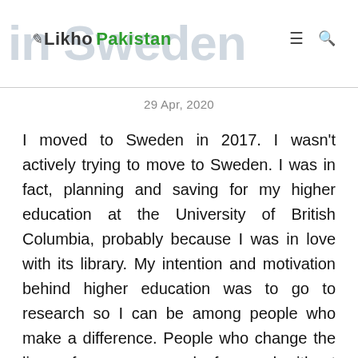Likho Pakistan — in Sweden
29 Apr, 2020
I moved to Sweden in 2017. I wasn't actively trying to move to Sweden. I was in fact, planning and saving for my higher education at the University of British Columbia, probably because I was in love with its library. My intention and motivation behind higher education was to go to research so I can be among people who make a difference. People who change the lives of so many people for good without them knowing. I never felt the same about myself. I loved coding, that was my super skill but I never thought about myself making a difference. As a freelancer, I was only building products for people by following a